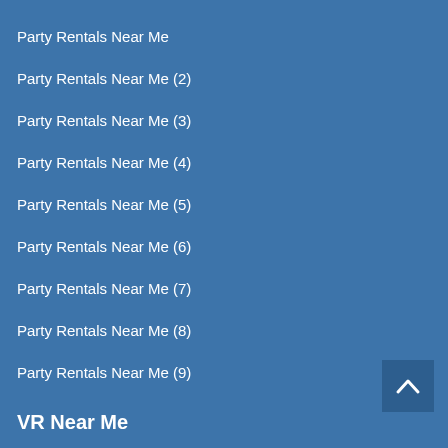Party Rentals Near Me
Party Rentals Near Me (2)
Party Rentals Near Me (3)
Party Rentals Near Me (4)
Party Rentals Near Me (5)
Party Rentals Near Me (6)
Party Rentals Near Me (7)
Party Rentals Near Me (8)
Party Rentals Near Me (9)
VR Near Me